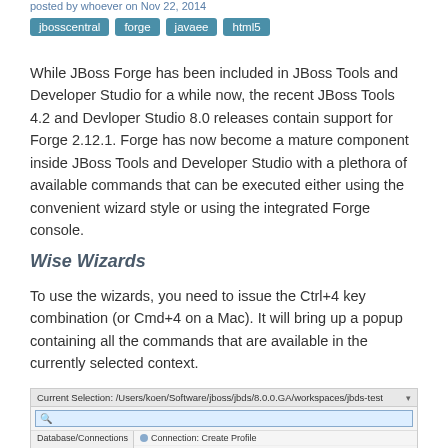posted by whoever on Nov 22, 2014
jbosscentral
forge
javaee
html5
While JBoss Forge has been included in JBoss Tools and Developer Studio for a while now, the recent JBoss Tools 4.2 and Devloper Studio 8.0 releases contain support for Forge 2.12.1. Forge has now become a mature component inside JBoss Tools and Developer Studio with a plethora of available commands that can be executed either using the convenient wizard style or using the integrated Forge console.
Wise Wizards
To use the wizards, you need to issue the Ctrl+4 key combination (or Cmd+4 on a Mac). It will bring up a popup containing all the commands that are available in the currently selected context.
[Figure (screenshot): Screenshot of JBoss Forge wizard popup showing Current Selection path, a search box, and command list including Database/Connections and Forge/Manage entries with Connection Create Profile, Connection Remove Profile, Build and Install an Addon, Install an Addon, Install an Addon from Git]